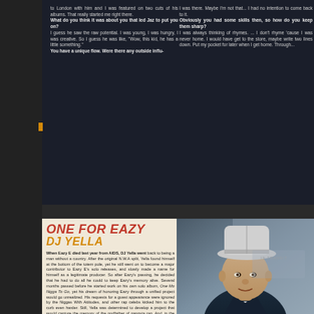to London with him and I was featured on two cuts of his albums. That really started me right there. What do you think it was about you that led Jaz to put you on? I guess he saw the raw potential. I was young, I was hungry, I was creative. So I guess he was like, 'Wow, this kid, he has a little something.' You have a unique flow. Were there any outside influ-
I was there. Maybe I'm not that... I had no intention to come back to it. Obviously you had some skills then, so how do you keep them sharp? I was always thinking of rhymes.... I don't rhyme 'cause I was never home. I would have get to the store, maybe write two lines down. Put in my pocket for later when I get home. Through...
ONE FOR EAZY DJ YELLA
When Eazy E died last year from AIDS, DJ Yella went back to being a man without a country. After the original N.W.A split, Yella found himself at the bottom of the totem pole, yet he still went on to become a major contributor to Eazy E's solo releases, and slowly made a name for himself as a legitimate producer. So after Eazy's passing, he decided that he had to do all he could to keep Eazy's memory alive. Several months passed before he started work on his own solo album, One Mo Nigga To Go, yet his dream of honoring Eazy through a unified project would go unrealized. His requests for a guest appearance were ignored by the Niggas With Attitudes, and other rap celebs kicked him to the curb even harder. Still, Yella was determined to develop a project that would capture the memory of the godfather of gangsta rap. And, in the end, that's exactly what he did. "I cried when I saw Eric in the hospital," Yella said. "I only got to see him one time, and after that couldn't nobody see him. People started to just grab for the money he had, and do crazy things after he died. Even at the funeral it was a circus, that's why my video was made to look like a funeral. I wanted to show how the funeral should have been, and did it in a way Eric would have liked if he was here. I wanted to let people know what type of person he really was."
[Figure (photo): Photo of DJ Yella wearing a white baseball cap and dark jacket, close-up portrait shot]